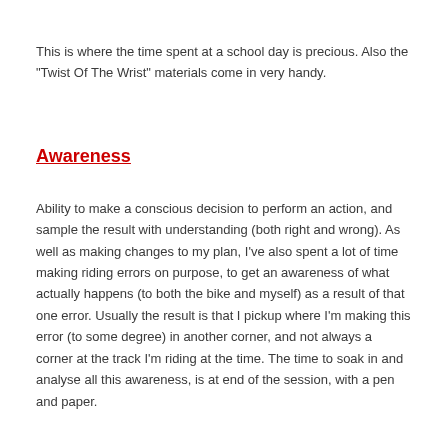This is where the time spent at a school day is precious. Also the "Twist Of The Wrist" materials come in very handy.
Awareness
Ability to make a conscious decision to perform an action, and sample the result with understanding (both right and wrong). As well as making changes to my plan, I've also spent a lot of time making riding errors on purpose, to get an awareness of what actually happens (to both the bike and myself) as a result of that one error. Usually the result is that I pickup where I'm making this error (to some degree) in another corner, and not always a corner at the track I'm riding at the time. The time to soak in and analyse all this awareness, is at end of the session, with a pen and paper.
If your having trouble understanding the result of the change you've made, chances are, you've got a misunderstanding from the 'Education' part of the formula that needs to be cleared. Time to hit the TOTW books.